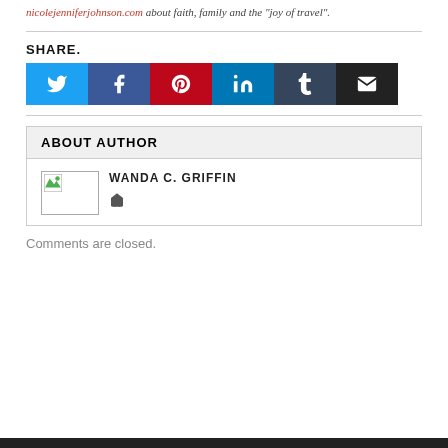nicolejenniferjohnson.com about faith, family and the "joy of travel".
SHARE.
[Figure (infographic): Social share buttons: Twitter (blue), Facebook (dark blue), Pinterest (red), LinkedIn (teal), Tumblr (dark navy), Email (black)]
ABOUT AUTHOR
[Figure (photo): Author photo placeholder with broken image icon]
WANDA C. GRIFFIN
Home icon link
Comments are closed.